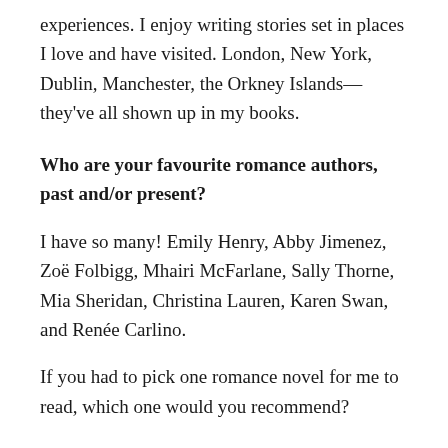experiences. I enjoy writing stories set in places I love and have visited. London, New York, Dublin, Manchester, the Orkney Islands—they've all shown up in my books.
Who are your favourite romance authors, past and/or present?
I have so many! Emily Henry, Abby Jimenez, Zoë Folbigg, Mhairi McFarlane, Sally Thorne, Mia Sheridan, Christina Lauren, Karen Swan, and Renée Carlino.
If you had to pick one romance novel for me to read, which one would you recommend?